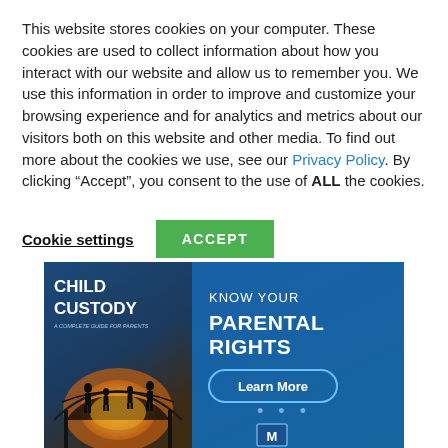This website stores cookies on your computer. These cookies are used to collect information about how you interact with our website and allow us to remember you. We use this information in order to improve and customize your browsing experience and for analytics and metrics about our visitors both on this website and other media. To find out more about the cookies we use, see our Privacy Policy. By clicking “Accept”, you consent to the use of ALL the cookies.
Cookie settings | ACCEPT
[Figure (illustration): Advertisement banner for a book titled 'Child Custody: A Complete Guide for Parents' with text 'KNOW YOUR PARENTAL RIGHTS' and a 'Learn More' button on a blue background. The left side shows a book cover with silhouettes of children on a bridge at sunset.]